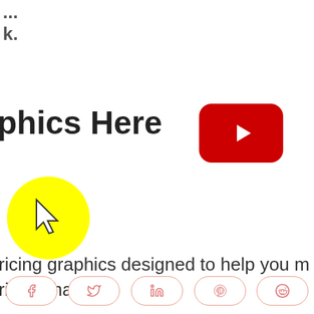...k.
phics Here
[Figure (other): YouTube play button (red rounded rectangle with white play triangle)]
[Figure (other): Yellow circle with a mouse cursor arrow icon inside]
ricing graphics designed to help you m
rison charts.
efore purchasing.
[Figure (other): Social share buttons row: Facebook, Twitter, LinkedIn, Pinterest, Reddit]